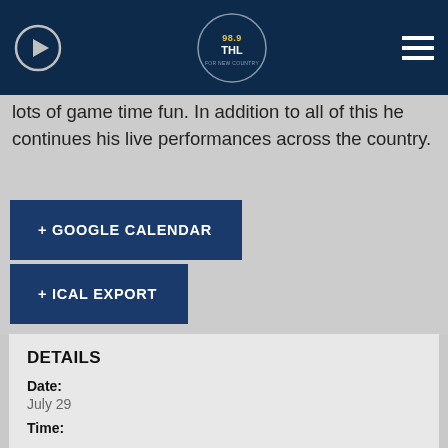98.9 The Bull radio station header with play button and hamburger menu
lots of game time fun. In addition to all of this he continues his live performances across the country.
+ GOOGLE CALENDAR
+ ICAL EXPORT
DETAILS
Date:
July 29
Time: